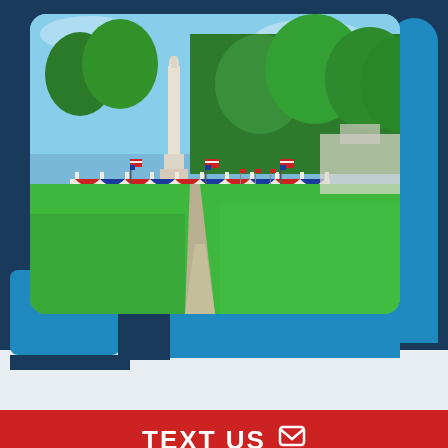[Figure (photo): Outdoor park scene with a white stone war memorial/monument topped with a figure, surrounded by American flags and patriotic red-white-blue bunting decorations along a white fence. Green lawn with a concrete pathway leading to the monument. Large green trees in the background under a blue sky.]
TEXT US →